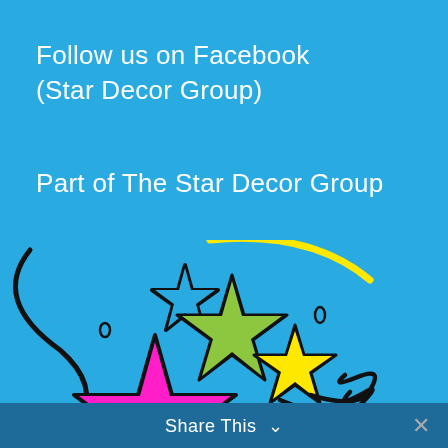Follow us on Facebook
(Star Decor Group)
Part of The Star Decor Group
[Figure (illustration): Colorful cartoon stars illustration with curvy black outlines on a blue background. Features a pink/magenta large star, a green medium star, a yellow small star, and a small outlined white star, with decorative swirling lines and curves in black and yellow.]
Share This ∨  ✕